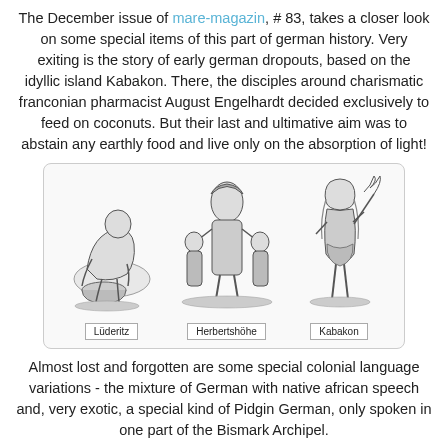The December issue of mare-magazin, # 83, takes a closer look on some special items of this part of german history. Very exiting is the story of early german dropouts, based on the idyllic island Kabakon. There, the disciples around charismatic franconian pharmacist August Engelhardt decided exclusively to feed on coconuts. But their last and ultimative aim was to abstain any earthly food and live only on the absorption of light!
[Figure (illustration): Three black and white illustrations of figurines labeled Lüderitz, Herbertshöhe, and Kabakon. Lüderitz shows a crouching figure, Herbertshöhe shows a group with a child and adults, Kabakon shows a tall figure with a palm-like plant.]
Almost lost and forgotten are some special colonial language variations - the mixture of German with native african speech and, very exotic, a special kind of Pidgin German, only spoken in one part of the Bismark Archipel.
The magazin asked me to make a double-paged map of